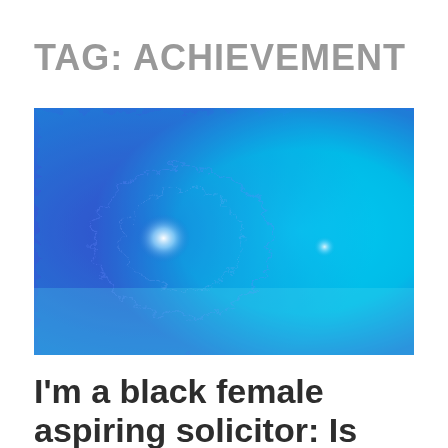TAG: ACHIEVEMENT
[Figure (photo): Abstract blue and cyan watercolor or paint texture with swirling patterns and bright white highlights in the center-left area.]
I'm a black female aspiring solicitor: Is my